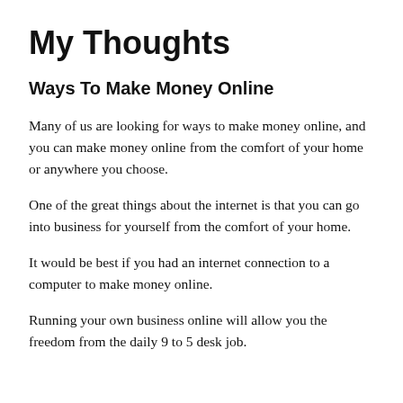My Thoughts
Ways To Make Money Online
Many of us are looking for ways to make money online, and you can make money online from the comfort of your home or anywhere you choose.
One of the great things about the internet is that you can go into business for yourself from the comfort of your home.
It would be best if you had an internet connection to a computer to make money online.
Running your own business online will allow you the freedom from the daily 9 to 5 desk job.